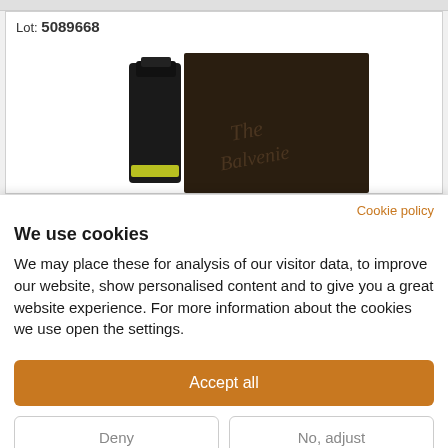Lot: 5089668
[Figure (photo): A bottle of whisky (showing black cap and yellow label) next to a dark wooden box with script text on it, photographed against a white background.]
Cookie policy
We use cookies
We may place these for analysis of our visitor data, to improve our website, show personalised content and to give you a great website experience. For more information about the cookies we use open the settings.
Accept all
Deny
No, adjust